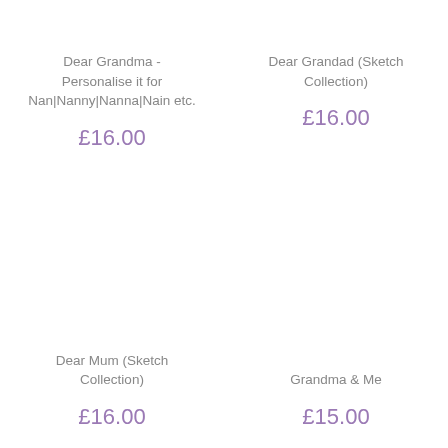Dear Grandma - Personalise it for Nan|Nanny|Nanna|Nain etc.
£16.00
Dear Grandad (Sketch Collection)
£16.00
Dear Mum (Sketch Collection)
£16.00
Grandma & Me
£15.00